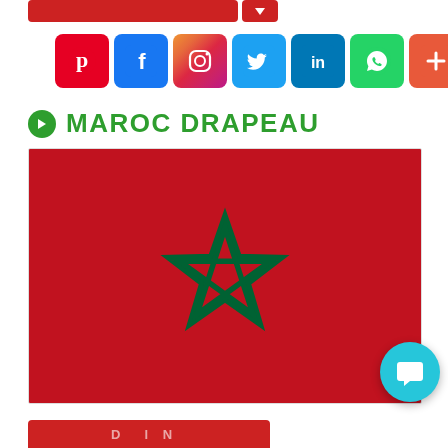[Figure (screenshot): Top red download/action button with dropdown arrow]
[Figure (infographic): Social media sharing icons row: Pinterest, Facebook, Instagram, Twitter, LinkedIn, WhatsApp, More (+)]
MAROC DRAPEAU
[Figure (photo): Moroccan flag - red background with green pentagram star in the center]
[Figure (screenshot): Teal chat bubble button in the bottom-right corner]
[Figure (screenshot): Bottom red Download Now button partially visible]